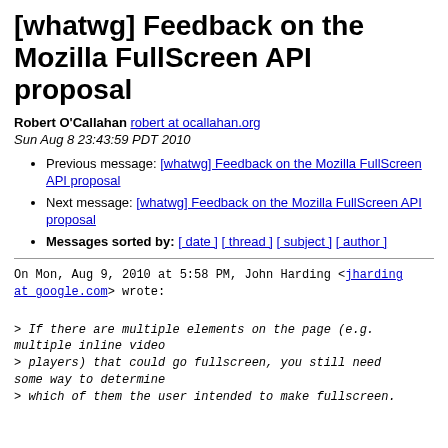[whatwg] Feedback on the Mozilla FullScreen API proposal
Robert O'Callahan robert at ocallahan.org
Sun Aug 8 23:43:59 PDT 2010
Previous message: [whatwg] Feedback on the Mozilla FullScreen API proposal
Next message: [whatwg] Feedback on the Mozilla FullScreen API proposal
Messages sorted by: [ date ] [ thread ] [ subject ] [ author ]
On Mon, Aug 9, 2010 at 5:58 PM, John Harding <jharding at google.com> wrote:
> If there are multiple elements on the page (e.g. multiple inline video
> players) that could go fullscreen, you still need some way to determine
> which of them the user intended to make fullscreen.